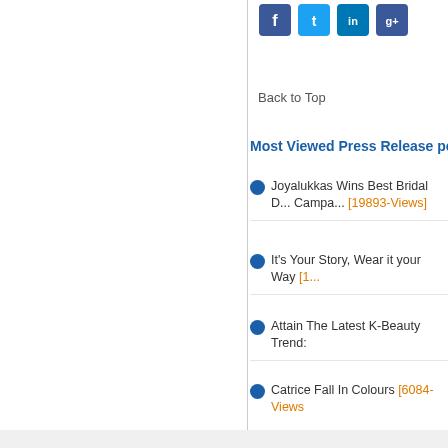[Figure (screenshot): Social media share icons: Facebook (blue), Twitter (light blue), LinkedIn (dark blue), Google+ (red/blue)]
Back to Top
Most Viewed Press Release pe
Joyalukkas Wins Best Bridal D... Campa... [19893-Views]
It's Your Story, Wear it your Way [1...
Attain The Latest K-Beauty Trend:
Catrice Fall In Colours [6084-Views]
We use cookies
We use cookies and other tracking technologies to improve your browsing experience on our website, to show you personalized content and targeted ads, to analyze our website traffic, and